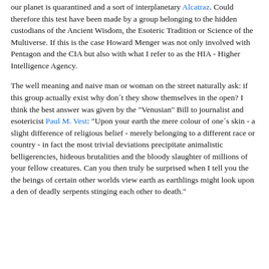our planet is quarantined and a sort of interplanetary Alcatraz. Could therefore this test have been made by a group belonging to the hidden custodians of the Ancient Wisdom, the Esoteric Tradition or Science of the Multiverse. If this is the case Howard Menger was not only involved with Pentagon and the CIA but also with what I refer to as the HIA - Higher Intelligence Agency.
The well meaning and naive man or woman on the street naturally ask: if this group actually exist why don´t they show themselves in the open? I think the best answer was given by the "Venusian" Bill to journalist and esotericist Paul M. Vest: "Upon your earth the mere colour of one´s skin - a slight difference of religious belief - merely belonging to a different race or country - in fact the most trivial deviations precipitate animalistic belligerencies, hideous brutalities and the bloody slaughter of millions of your fellow creatures. Can you then truly be surprised when I tell you the the beings of certain other worlds view earth as earthlings might look upon a den of deadly serpents stinging each other to death."